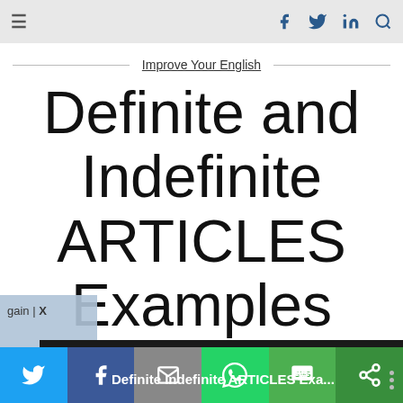≡  f  🐦  in  🔍
Improve Your English
Definite and Indefinite ARTICLES Examples
[Figure (screenshot): Popup overlay box with text 'gain | X' on left side]
[Figure (screenshot): Video thumbnail bar showing 'Definite Indefinite ARTICLES Exa...' with speaker photo and three-dot menu]
[Figure (screenshot): Social share bar at bottom: Twitter, Facebook, Email, WhatsApp, SMS, Other icons]